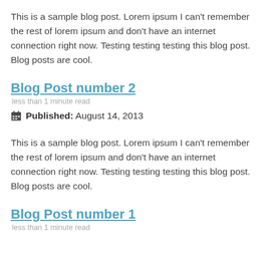This is a sample blog post. Lorem ipsum I can't remember the rest of lorem ipsum and don't have an internet connection right now. Testing testing testing this blog post. Blog posts are cool.
Blog Post number 2
less than 1 minute read
Published: August 14, 2013
This is a sample blog post. Lorem ipsum I can't remember the rest of lorem ipsum and don't have an internet connection right now. Testing testing testing this blog post. Blog posts are cool.
Blog Post number 1
less than 1 minute read